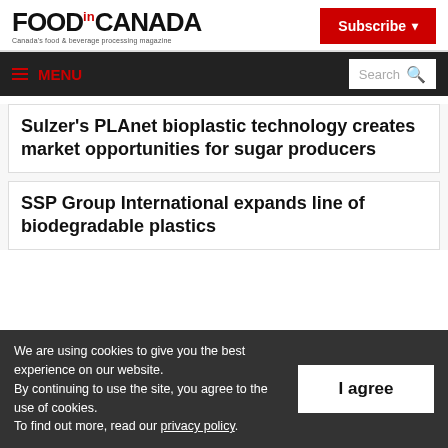FOOD in CANADA — Canada's food & beverage processing magazine
Sulzer's PLAnet bioplastic technology creates market opportunities for sugar producers
SSP Group International expands line of biodegradable plastics
We are using cookies to give you the best experience on our website. By continuing to use the site, you agree to the use of cookies. To find out more, read our privacy policy.